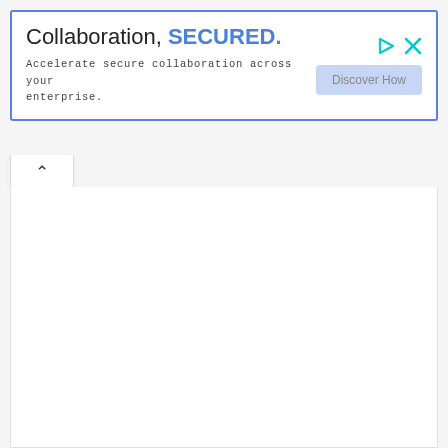[Figure (screenshot): Advertisement banner with blue border. Headline reads 'Collaboration, SECURED.' with 'SECURED.' in bold blue. Subtitle text: 'Accelerate secure collaboration across your enterprise.' A light blue 'Discover How' button appears on the right. Top-right corner has a cyan play icon and X close icon.]
[Figure (screenshot): Collapse tab with an upward-pointing chevron arrow (^) below the ad banner, indicating the ad can be minimized.]